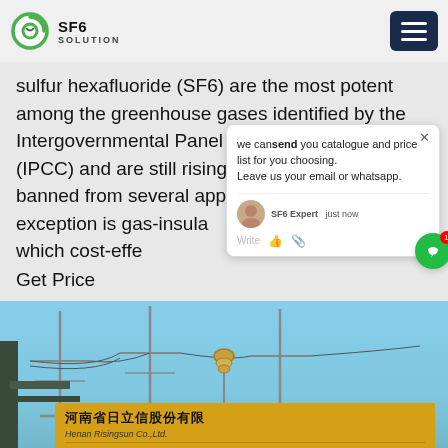SF6 SOLUTION
sulfur hexafluoride (SF6) are the most potent among the greenhouse gases identified by the Intergovernmental Panel on Climate Change (IPCC) and are still rising. In the EU been banned from several applications an important exception is gas-insulated switchgear (GIS) for which cost-effe
Get Price
[Figure (screenshot): Chat popup overlay showing message: 'we can send you catalogue and price list for you choosing. Leave us your email or whatsapp.' with SF6 Expert label, just now timestamp, and write/react buttons.]
[Figure (photo): Outdoor photograph of electrical power transmission infrastructure with power lines against a blue sky. A yellow sign in Chinese reads 河南省日立信股份有限 (Henan Risingsun Co.,Ltd.) is visible in the lower portion.]